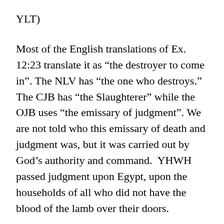YLT)
Most of the English translations of Ex. 12:23 translate it as “the destroyer to come in”.  The NLV has “the one who destroys.” The CJB has “the Slaughterer” while the OJB uses “the emissary of judgment”.  We are not told who this emissary of death and judgment was, but it was carried out by God’s authority and command.  YHWH passed judgment upon Egypt, upon the households of all who did not have the blood of the lamb over their doors.
Up to this point, the symbolism and type / anti-type seems fairly well understood by most who claim to be Christians.  Christ’s sacrifice, taking all of the sin of the